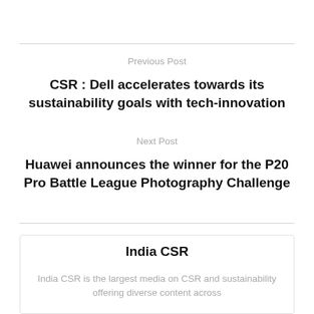Previous Post
CSR : Dell accelerates towards its sustainability goals with tech-innovation
Next Post
Huawei announces the winner for the P20 Pro Battle League Photography Challenge
India CSR
India CSR is the largest media on CSR and sustainability offering diverse content across